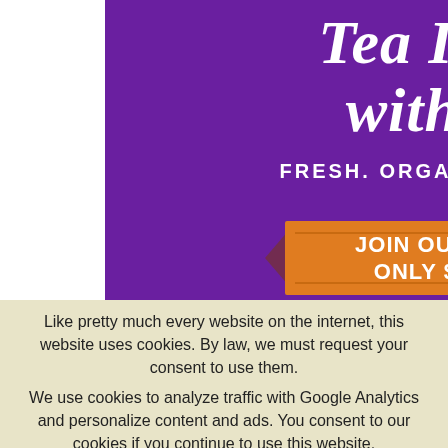[Figure (illustration): Purple banner advertisement for a tea company. Large italic white script text reads 'Tea Infused with Love'. Below in bold white uppercase sans-serif: 'FRESH. ORGANIC. FAIR TRADE.' An orange ribbon banner reads 'JOIN OUR TEA CLUB ONLY $10/MONTH'.]
Like pretty much every website on the internet, this website uses cookies. By law, we must request your consent to use them.
We use cookies to analyze traffic with Google Analytics and personalize content and ads. You consent to our cookies if you continue to use this website.
Accept
Reject
Read More